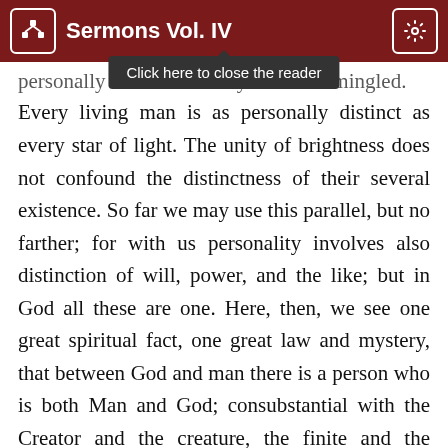Sermons Vol. IV
Every living man is as personally distinct as every star of light. The unity of brightness does not confound the distinctness of their several existence. So far we may use this parallel, but no farther; for with us personality involves also distinction of will, power, and the like; but in God all these are one. Here, then, we see one great spiritual fact, one great law and mystery, that between God and man there is a person who is both Man and God; consubstantial with the Creator and the creature, the finite and the infinite; that by one consubstantial unity He is God, by the other, Man.